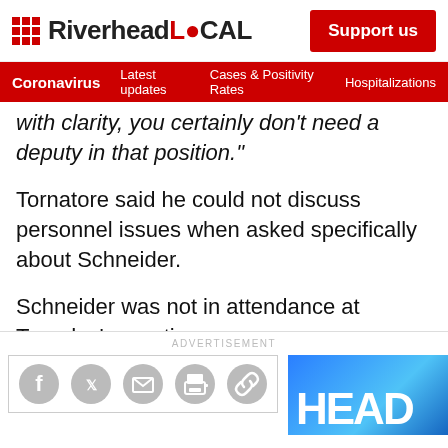RiverheadLOCAL | Support us | Coronavirus | Latest updates | Cases & Positivity Rates | Hospitalizations
with clarity, you certainly don't need a deputy in that position."
Tornatore said he could not discuss personnel issues when asked specifically about Schneider.
Schneider was not in attendance at Tuesday's meeting.
ADVERTISEMENT
[Figure (screenshot): Social share icons bar with Facebook, Twitter, email, print, and link icons, alongside a partial blue advertisement banner showing 'HEAD']